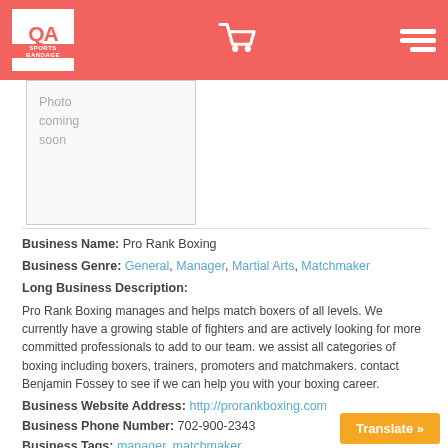QA Sports Bandage - header with logo, cart, and menu
[Figure (photo): Photo coming soon placeholder image box]
Business Name: Pro Rank Boxing
Business Genre: General, Manager, Martial Arts, Matchmaker
Long Business Description:
Pro Rank Boxing manages and helps match boxers of all levels. We currently have a growing stable of fighters and are actively looking for more committed professionals to add to our team. we assist all categories of boxing including boxers, trainers, promoters and matchmakers. contact Benjamin Fossey to see if we can help you with your boxing career.
Business Website Address: http://prorankboxing.com
Business Phone Number: 702-900-2343
Business Tags: manager, matchmaker